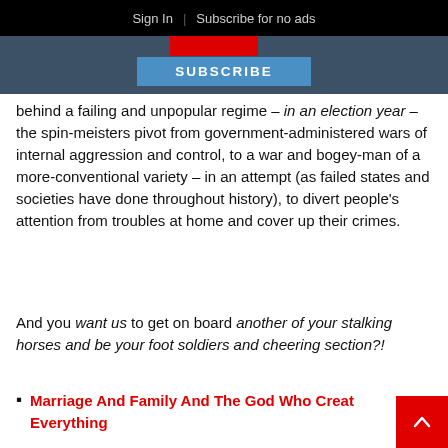Sign In | Subscribe for no ads
SUBSCRIBE
behind a failing and unpopular regime – in an election year – the spin-meisters pivot from government-administered wars of internal aggression and control, to a war and bogey-man of a more-conventional variety – in an attempt (as failed states and societies have done throughout history), to divert people's attention from troubles at home and cover up their crimes.
And you want us to get on board another of your stalking horses and be your foot soldiers and cheering section?!
Marriage And Family And The God Who Created Everything